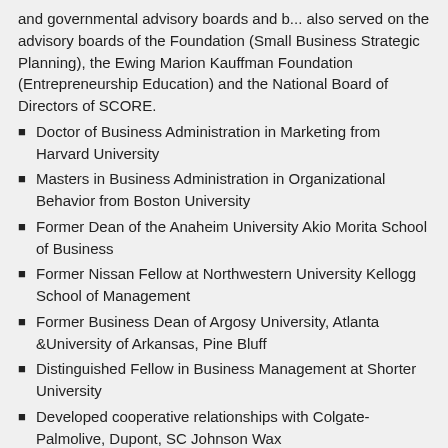and governmental advisory boards and b... also served on the advisory boards of the... Foundation (Small Business Strategic Planning), the Ewing Marion Kauffman Foundation (Entrepreneurship Education) and the National Board of Directors of SCORE.
Doctor of Business Administration in Marketing from Harvard University
Masters in Business Administration in Organizational Behavior from Boston University
Former Dean of the Anaheim University Akio Morita School of Business
Former Nissan Fellow at Northwestern University Kellogg School of Management
Former Business Dean of Argosy University, Atlanta &University of Arkansas, Pine Bluff
Distinguished Fellow in Business Management at Shorter University
Developed cooperative relationships with Colgate-Palmolive, Dupont, SC Johnson Wax